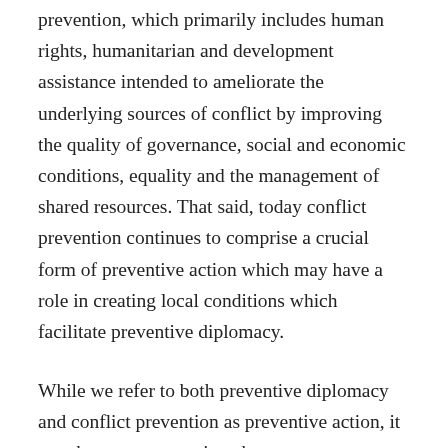prevention, which primarily includes human rights, humanitarian and development assistance intended to ameliorate the underlying sources of conflict by improving the quality of governance, social and economic conditions, equality and the management of shared resources. That said, today conflict prevention continues to comprise a crucial form of preventive action which may have a role in creating local conditions which facilitate preventive diplomacy.
While we refer to both preventive diplomacy and conflict prevention as preventive action, it may be more apt to view them not as concepts but rather as key elements in what is increasingly referred to as ‘infrastructures for peace’ or ‘peace architectures’